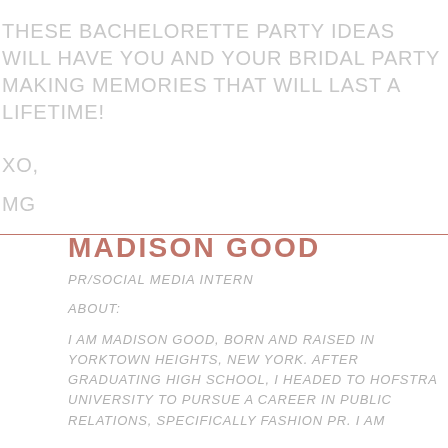THESE BACHELORETTE PARTY IDEAS WILL HAVE YOU AND YOUR BRIDAL PARTY MAKING MEMORIES THAT WILL LAST A LIFETIME!
XO,
MG
MADISON GOOD
PR/SOCIAL MEDIA INTERN
ABOUT:
I AM MADISON GOOD, BORN AND RAISED IN YORKTOWN HEIGHTS, NEW YORK. AFTER GRADUATING HIGH SCHOOL, I HEADED TO HOFSTRA UNIVERSITY TO PURSUE A CAREER IN PUBLIC RELATIONS, SPECIFICALLY FASHION PR. I AM